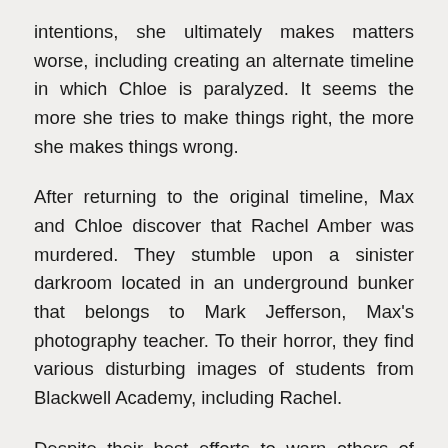intentions, she ultimately makes matters worse, including creating an alternate timeline in which Chloe is paralyzed. It seems the more she tries to make things right, the more she makes things wrong.
After returning to the original timeline, Max and Chloe discover that Rachel Amber was murdered. They stumble upon a sinister darkroom located in an underground bunker that belongs to Mark Jefferson, Max's photography teacher. To their horror, they find various disturbing images of students from Blackwell Academy, including Rachel.
Despite their best efforts to warn others of Jefferson's true nature, he ends up murdering Chloe and kidnapping Max. Held hostage in Jefferson's darkroom, Max is forced to use her rewind powers again to save Chloe and report